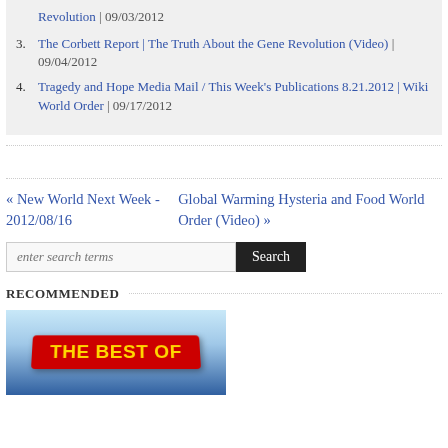Revolution | 09/03/2012
3. The Corbett Report | The Truth About the Gene Revolution (Video) | 09/04/2012
4. Tragedy and Hope Media Mail / This Week's Publications 8.21.2012 | Wiki World Order | 09/17/2012
« New World Next Week - 2012/08/16
Global Warming Hysteria and Food World Order (Video) »
enter search terms Search
RECOMMENDED
[Figure (photo): THE BEST OF banner image with blue sky background]